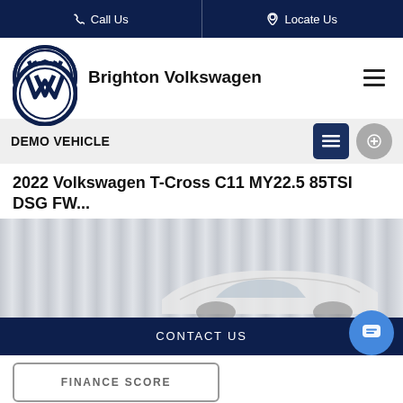Call Us | Locate Us
[Figure (logo): Volkswagen circular logo with VW letters in dark navy blue]
Brighton Volkswagen
DEMO VEHICLE
2022 Volkswagen T-Cross C11 MY22.5 85TSI DSG FW...
[Figure (photo): Partial view of a white/silver Volkswagen T-Cross in front of a corrugated metal wall background]
CONTACT US
FINANCE SCORE